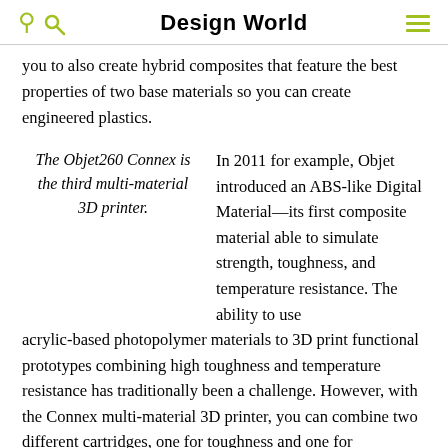Design World
you to also create hybrid composites that feature the best properties of two base materials so you can create engineered plastics.
The Objet260 Connex is the third multi-material 3D printer.
In 2011 for example, Objet introduced an ABS-like Digital Material—its first composite material able to simulate strength, toughness, and temperature resistance. The ability to use acrylic-based photopolymer materials to 3D print functional prototypes combining high toughness and temperature resistance has traditionally been a challenge. However, with the Connex multi-material 3D printer, you can combine two different cartridges, one for toughness and one for temperature resistance, to create an ABS like material that is both tough and temperature resistant for a functional prototype.